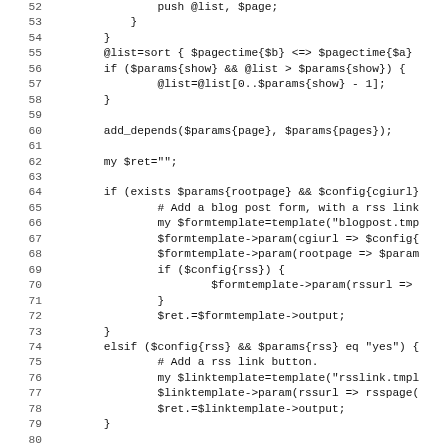Code listing lines 52–83, Perl source code showing blog/page list logic